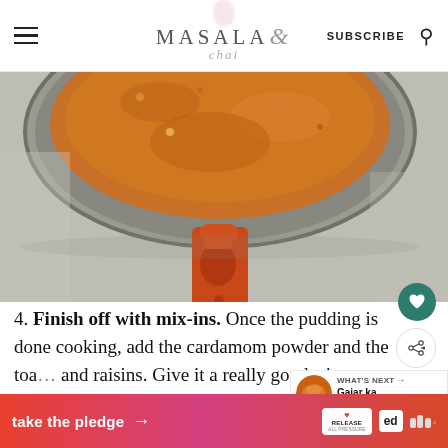MASALA & chai — SUBSCRIBE
[Figure (photo): Close-up overhead view of an orange-handled cast iron skillet with spiced orange/turmeric mixture inside, on a grey stone surface]
4. Finish off with mix-ins. Once the pudding is done cooking, add the cardamom powder and the toa... and raisins. Give it a really good stir,
[Figure (photo): What's Next thumbnail: Gajar ka Halwa (Carr... bowl of orange carrot halwa]
take the pledge →